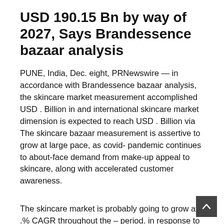USD 190.15 Bn by way of 2027, Says Brandessence bazaar analysis
PUNE, India, Dec. eight, PRNewswire — in accordance with Brandessence bazaar analysis, the skincare market measurement accomplished USD . Billion in and international skincare market dimension is expected to reach USD . Billion via The skincare bazaar measurement is assertive to grow at large pace, as covid- pandemic continues to about-face demand from make-up appeal to skincare, along with accelerated customer awareness.
The skincare market is probably going to grow at .% CAGR throughout the – period. in response to posted tutorial experiences summarizing Google trends, or friendliness media comments, phrases like, Abosorb, good, impact, moisture, nourishing, remain